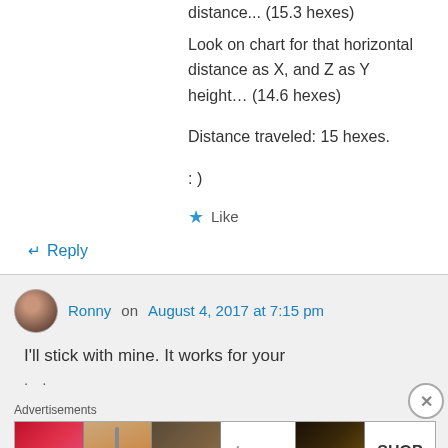distance... (15.3 hexes)
Look on chart for that horizontal distance as X, and Z as Y height... (14.6 hexes)
Distance traveled: 15 hexes.
: )
★ Like
↵ Reply
Ronny on August 4, 2017 at 7:15 pm
I'll stick with mine. It works for your
Advertisements
[Figure (other): Ulta Beauty advertisement banner showing makeup products and faces, with 'SHOP NOW' call to action.]